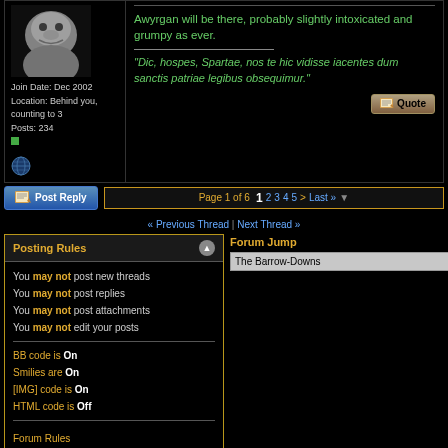[Figure (photo): Black and white portrait photo of a man]
Join Date: Dec 2002
Location: Behind you, counting to 3
Posts: 234
Awyrgan will be there, probably slightly intoxicated and grumpy as ever.
"Dic, hospes, Spartae, nos te hic vidisse iacentes dum sanctis patriae legibus obsequimur."
Post Reply | Page 1 of 6  1 2 3 4 5 > Last »
« Previous Thread | Next Thread »
Posting Rules
You may not post new threads
You may not post replies
You may not post attachments
You may not edit your posts
BB code is On
Smilies are On
[IMG] code is On
HTML code is Off
Forum Rules
Forum Jump
The Barrow-Downs